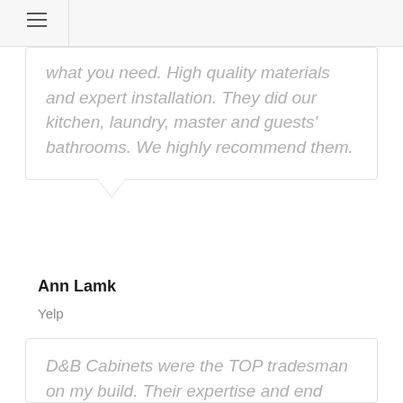what you need. High quality materials and expert installation. They did our kitchen, laundry, master and guests' bathrooms. We highly recommend them.
Ann Lamk
Yelp
D&B Cabinets were the TOP tradesman on my build. Their expertise and end product made the entire project. My cabinetry and mirror frames were